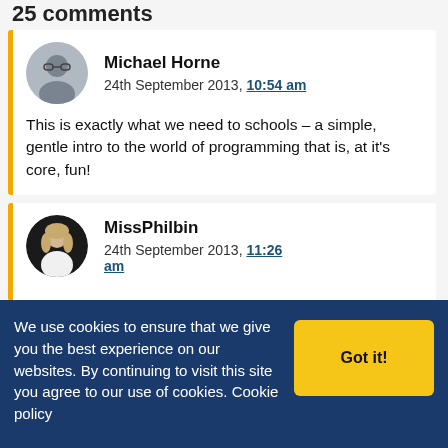25 comments
Michael Horne
24th September 2013, 10:54 am

This is exactly what we need to schools – a simple, gentle intro to the world of programming that is, at it's core, fun!
MissPhilbin
24th September 2013, 11:26 am
We use cookies to ensure that we give you the best experience on our websites. By continuing to visit this site you agree to our use of cookies. Cookie policy